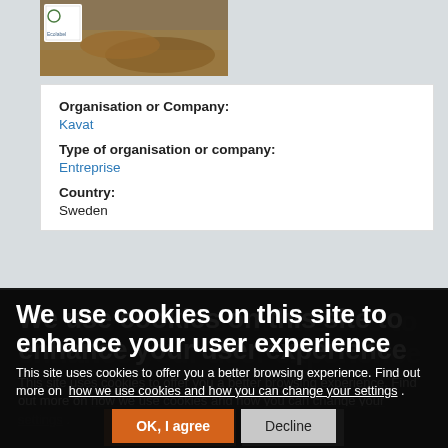[Figure (photo): Partial view of shoes/boots on autumn leaves background with a small Ecolabel logo in upper left corner]
Organisation or Company:
Kavat
Type of organisation or company:
Entreprise
Country:
Sweden
Language for original content:
Key words:
Introductory phrase/assessment:
Sector:
Repair, reconditioning, second-hand reselling
Kavat produces durable, high-quality shoes made of sustainable materials by resorting to eco-friendly manufacturing processes and offers a shoe-repair service.
We use cookies on this site to enhance your user experience
This site uses cookies to offer you a better browsing experience. Find out more on how we use cookies and how you can change your settings .
OK, I agree
Decline